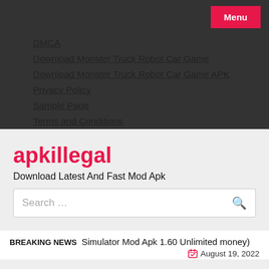Menu
DMCA
Download Monster Truck Robot Car Game
Download Monster Truck Robot Car Game APK
Privacy Policy
Sample Page
Terms and Conditions
apkillegal
Download Latest And Fast Mod Apk
Search …
BREAKING NEWS   Simulator Mod Apk 1.60 Unlimited money)
August 19, 2022